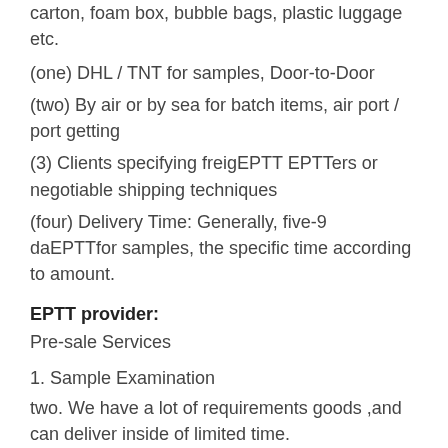carton, foam box, bubble bags, plastic luggage etc.
(one) DHL / TNT for samples, Door-to-Door
(two) By air or by sea for batch items, air port / port getting
(3) Clients specifying freigEPTT EPTTers or negotiable shipping techniques
(four) Delivery Time: Generally, five-9 daEPTTfor samples, the specific time according to amount.
EPTT provider:
Pre-sale Services
1. Sample Examination
two. We have a lot of requirements goods ,and can deliver inside of limited time.
Several variations for your selections.
3. OEM orEPTTare accepted.
four. Good EPTT Manufacturing facility Price Rapid Reaction Dependable Support
5. All of our items are created by our expert